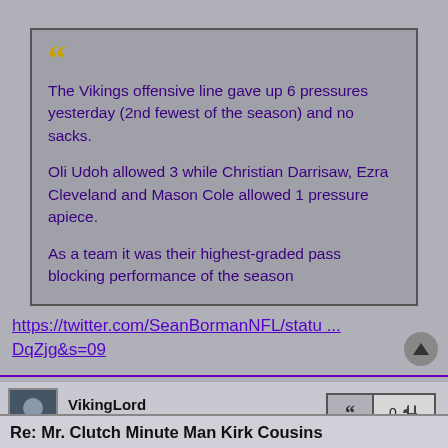The Vikings offensive line gave up 6 pressures yesterday (2nd fewest of the season) and no sacks.

Oli Udoh allowed 3 while Christian Darrisaw, Ezra Cleveland and Mason Cole allowed 1 pressure apiece.

As a team it was their highest-graded pass blocking performance of the season
https://twitter.com/SeanBormanNFL/statu ... DqZjg&s=09
VikingLord
Hall of Famer
0
Re: Mr. Clutch Minute Man Kirk Cousins